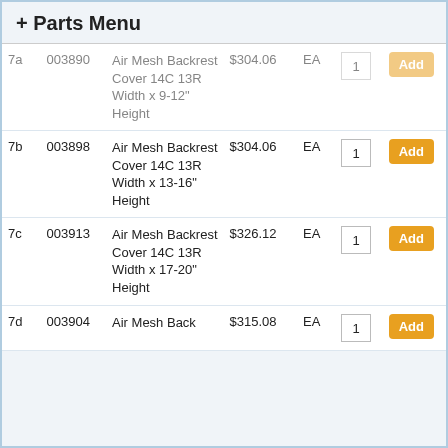+ Parts Menu
| # | Part No | Description | Price | Unit | Qty | Action |
| --- | --- | --- | --- | --- | --- | --- |
| 7a | 003890 | Air Mesh Backrest Cover 14C 13R Width x 9-12" Height | $304.06 | EA | 1 | Add |
| 7b | 003898 | Air Mesh Backrest Cover 14C 13R Width x 13-16" Height | $304.06 | EA | 1 | Add |
| 7c | 003913 | Air Mesh Backrest Cover 14C 13R Width x 17-20" Height | $326.12 | EA | 1 | Add |
| 7d | 003904 | Air Mesh Backrest... | $315.08 | EA | 1 | Add |